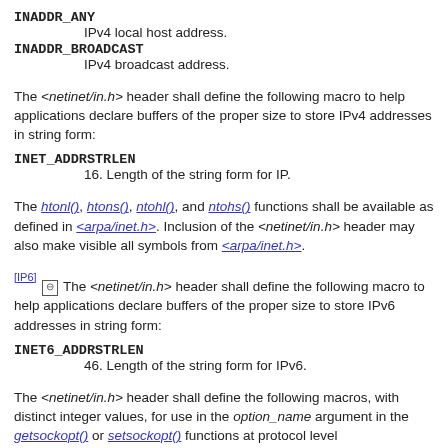INADDR_ANY
    IPv4 local host address.
INADDR_BROADCAST
    IPv4 broadcast address.
The <netinet/in.h> header shall define the following macro to help applications declare buffers of the proper size to store IPv4 addresses in string form:
INET_ADDRSTRLEN
    16. Length of the string form for IP.
The htonl(), htons(), ntohl(), and ntohs() functions shall be available as defined in <arpa/inet.h>. Inclusion of the <netinet/in.h> header may also make visible all symbols from <arpa/inet.h>.
[IP6] [obs] The <netinet/in.h> header shall define the following macro to help applications declare buffers of the proper size to store IPv6 addresses in string form:
INET6_ADDRSTRLEN
    46. Length of the string form for IPv6.
The <netinet/in.h> header shall define the following macros, with distinct integer values, for use in the option_name argument in the getsockopt() or setsockopt() functions at protocol level IPPROTO_IPV6:
IPV6_JOIN_GROUP